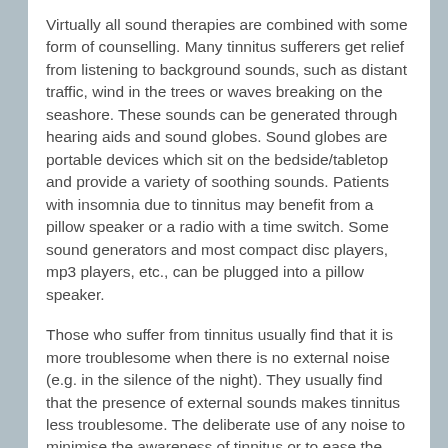Virtually all sound therapies are combined with some form of counselling. Many tinnitus sufferers get relief from listening to background sounds, such as distant traffic, wind in the trees or waves breaking on the seashore. These sounds can be generated through hearing aids and sound globes. Sound globes are portable devices which sit on the bedside/tabletop and provide a variety of soothing sounds. Patients with insomnia due to tinnitus may benefit from a pillow speaker or a radio with a time switch. Some sound generators and most compact disc players, mp3 players, etc., can be plugged into a pillow speaker.
Those who suffer from tinnitus usually find that it is more troublesome when there is no external noise (e.g. in the silence of the night). They usually find that the presence of external sounds makes tinnitus less troublesome. The deliberate use of any noise to minimise the awareness of tinnitus or to ease the distress caused by it is known as sound therapy. In Tinnitus Retraining Therapy (TRT), the phrase sound